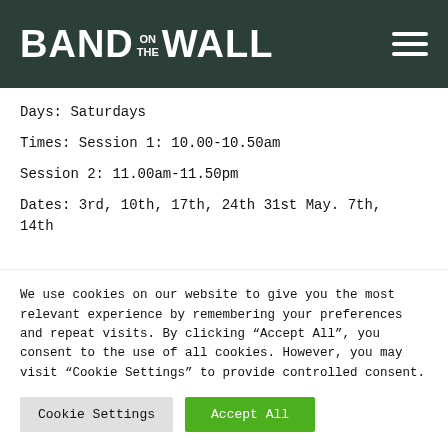BAND ON THE WALL
Days: Saturdays
Times: Session 1: 10.00-10.50am
Session 2: 11.00am-11.50pm
Dates: 3rd, 10th, 17th, 24th 31st May. 7th, 14th
We use cookies on our website to give you the most relevant experience by remembering your preferences and repeat visits. By clicking “Accept All”, you consent to the use of all cookies. However, you may visit “Cookie Settings” to provide controlled consent.
Cookie Settings | Accept All